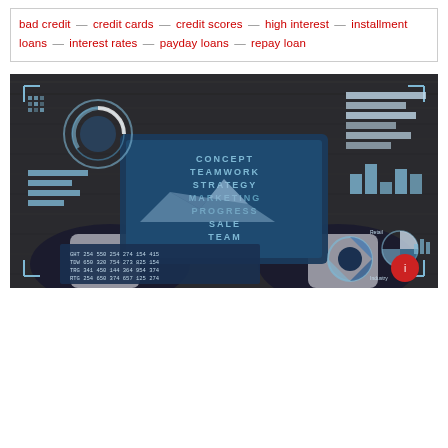bad credit — credit cards — credit scores — high interest — installment loans — interest rates — payday loans — repay loan
[Figure (photo): Business photo of hands holding a tablet displaying a digital dashboard with text: CONCEPT, TEAMWORK, STRATEGY, MARKETING, PROGRESS, SALE, TEAM. Overlaid with HUD-style infographics, charts, donut charts, bar charts, and a data table on a dark wooden desk background.]